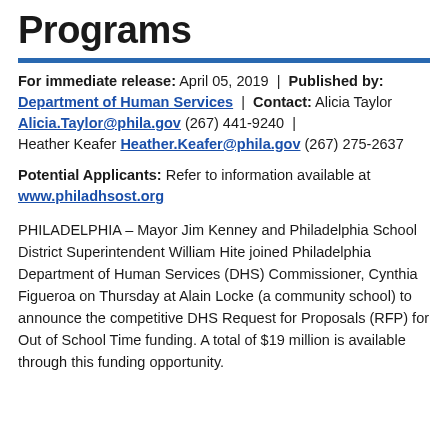Programs
For immediate release: April 05, 2019 | Published by: Department of Human Services | Contact: Alicia Taylor Alicia.Taylor@phila.gov (267) 441-9240 | Heather Keafer Heather.Keafer@phila.gov (267) 275-2637
Potential Applicants: Refer to information available at www.philadhsost.org
PHILADELPHIA – Mayor Jim Kenney and Philadelphia School District Superintendent William Hite joined Philadelphia Department of Human Services (DHS) Commissioner, Cynthia Figueroa on Thursday at Alain Locke (a community school) to announce the competitive DHS Request for Proposals (RFP) for Out of School Time funding. A total of $19 million is available through this funding opportunity.